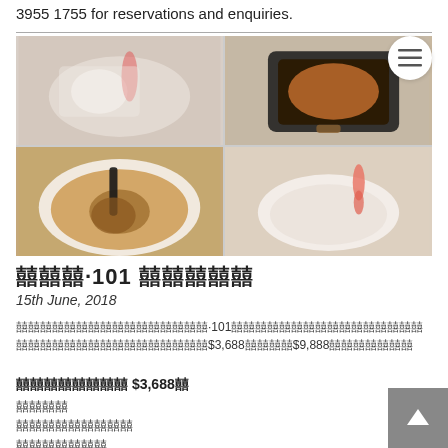3955 1755 for reservations and enquiries.
[Figure (photo): Four-panel food photo collage: top-left shows seafood and appetizers on white plate, top-right shows stir-fried dish in black claypot, bottom-left shows soup with abalone in white bowl with ladle, bottom-right shows shrimp and round dumplings on white plate.]
囍囍囍·101 囍囍囍囍囍
15th June, 2018
囍囍囍囍囍囍囍囍囍囍囍囍囍囍囍囍·101囍囍囍囍囍囍囍囍
囍囍囍囍囍囍囍囍囍囍囍囍囍囍囍囍囍囍囍囍囍囍
$3,688囍囍囍囍$9,888囍囍囍囍囍囍囍
囍囍囍囍囍囍囍囍 $3,688囍
囍囍囍囍
囍囍囍囍囍囍囍囍囍
囍囍囍囍囍囍囍
囍囍囍囍囍囍囍